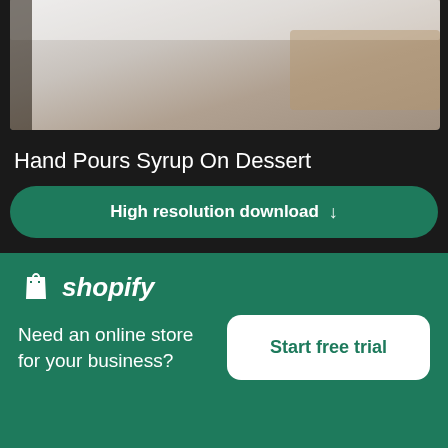[Figure (photo): Blurred close-up photo of a hand pouring syrup on a dessert, partially cropped at the top]
Hand Pours Syrup On Dessert
[Figure (other): Green rounded button labeled 'High resolution download' with a downward arrow]
[Figure (photo): Photo of colorful candy pieces (red, yellow, white, brown) and small green leaves scattered on a wooden surface]
[Figure (logo): Shopify logo with shopping bag icon and italic wordmark]
Need an online store for your business?
[Figure (other): White rounded button with green text: Start free trial]